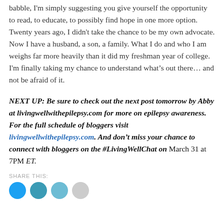babble, I'm simply suggesting you give yourself the opportunity to read, to educate, to possibly find hope in one more option. Twenty years ago, I didn't take the chance to be my own advocate. Now I have a husband, a son, a family. What I do and who I am weighs far more heavily than it did my freshman year of college. I'm finally taking my chance to understand what's out there… and not be afraid of it.
NEXT UP: Be sure to check out the next post tomorrow by Abby at livingwellwithepilepsy.com for more on epilepsy awareness. For the full schedule of bloggers visit livingwellwithepilepsy.com. And don't miss your chance to connect with bloggers on the #LivingWellChat on March 31 at 7PM ET.
SHARE THIS: